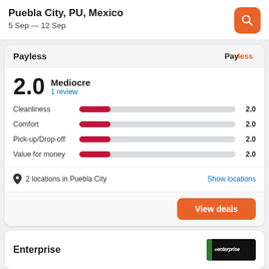Puebla City, PU, Mexico
5 Sep — 12 Sep
Payless
2.0 Mediocre
1 review
[Figure (bar-chart): Rating breakdown]
2 locations in Puebla City
Show locations
View deals
Enterprise